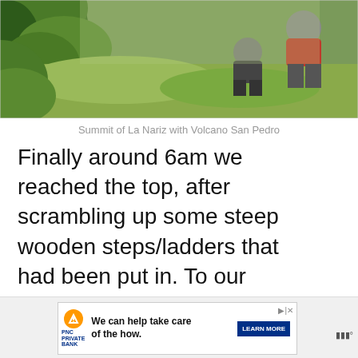[Figure (photo): Photo of the summit of La Nariz showing people crouching/sitting on rocky terrain with green foliage in the foreground and Volcano San Pedro in the background]
Summit of La Nariz with Volcano San Pedro
Finally around 6am we reached the top, after scrambling up some steep wooden steps/ladders that had been put in. To our surprise there was a local man waiting up there. He was the gatekeeper of La Nariz. If we wanted to go down the other side of the mountain to the town of Santa Clara, we'd each have to pay a $20 Quetzales fee.
[Figure (screenshot): Advertisement banner for PNC Private Bank with text 'We can help take care of the how.' and a LEARN MORE button]